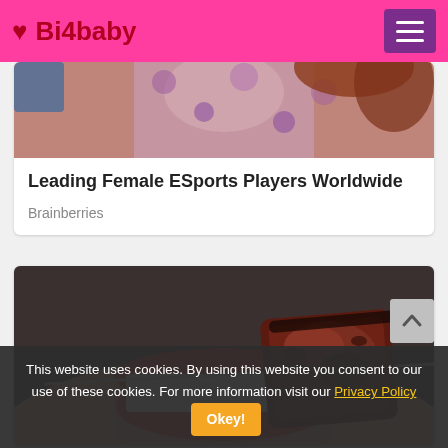♥ Bi4baby
[Figure (photo): Partial image of woman with patterned clothing visible at top of article card]
Leading Female ESports Players Worldwide
Brainberries
[Figure (photo): Close-up photo of a woman with red lips biting into a piece of grilled meat on a skewer]
This website uses cookies. By using this website you consent to our use of these cookies. For more information visit our Privacy Policy
Okey!